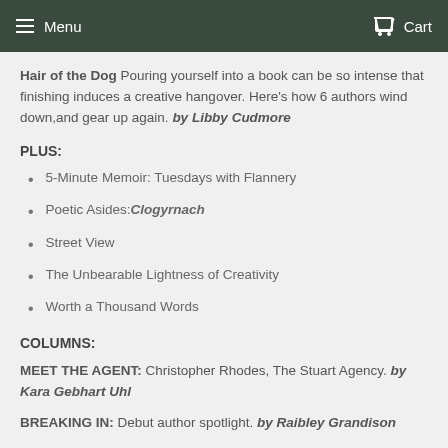Menu  Cart
Hair of the Dog Pouring yourself into a book can be so intense that finishing induces a creative hangover. Here's how 6 authors wind down,and gear up again. by Libby Cudmore
PLUS:
5-Minute Memoir: Tuesdays with Flannery
Poetic Asides: Clogyrnach
Street View
The Unbearable Lightness of Creativity
Worth a Thousand Words
COLUMNS:
MEET THE AGENT: Christopher Rhodes, The Stuart Agency. by Kara Gebhart Uhl
BREAKING IN: Debut author spotlight. by Raibley Grandison